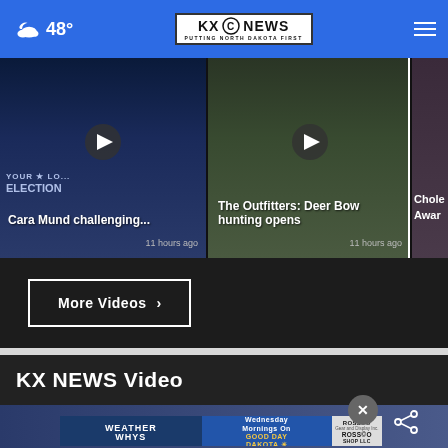48° KX NEWS - PUTTING NORTH DAKOTA FIRST
[Figure (screenshot): Video thumbnail for 'Cara Mund challenging...' news story with election background, play button, timestamped 11 hours ago]
[Figure (screenshot): Video thumbnail for 'The Outfitters: Deer Bow hunting opens' news story, play button, timestamped 11 hours ago]
[Figure (screenshot): Partially visible video thumbnail for 'Chol... Awar...' news story]
More Videos ▸
KX NEWS Video
[Figure (screenshot): Bottom preview area showing KX NEWS video player and Weather Whys / Rossco Shop LLC advertisement banner]
[Figure (advertisement): Advertisement banner: WEATHER WHYS - Wednesday Mornings On Good Day Dakota - ROSSCO Gear and Display Inc. ROSSCO SHOP LLC]